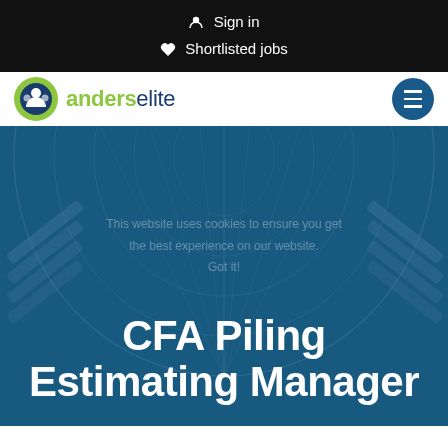Sign in
Shortlisted jobs
[Figure (logo): Anders Elite logo with green and dark blue icon and two-tone text]
CFA Piling Estimating Manager
This website uses cookies to ensure you get the best experience on our website. Got it!